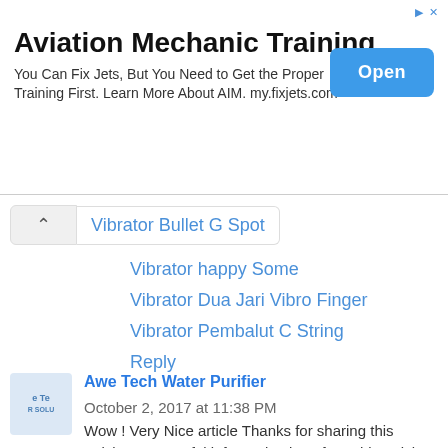[Figure (screenshot): Advertisement banner for Aviation Mechanic Training with Open button]
Vibrator Bullet G Spot
Vibrator happy Some
Vibrator Dua Jari Vibro Finger
Vibrator Pembalut C String
Reply
Awe Tech Water Purifier  October 2, 2017 at 11:38 PM
Wow ! Very Nice article Thanks for sharing this article. Very useful information i got from this article and website.
Reply